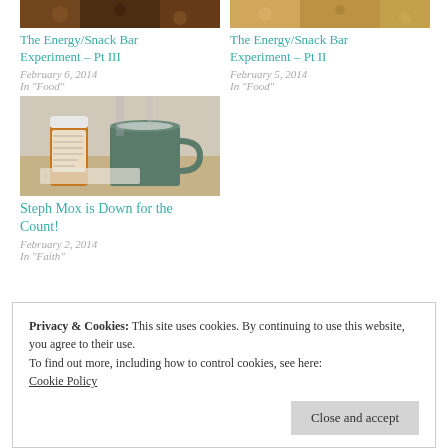[Figure (photo): Food/snack bar photo top left]
The Energy/Snack Bar Experiment – Pt III
February 6, 2014
In "Food"
[Figure (photo): Food/snack bar photo top right]
The Energy/Snack Bar Experiment – Pt II
February 5, 2014
In "Food"
[Figure (photo): Photo of pill bottle and mug on table]
Steph Mox is Down for the Count!
February 2, 2014
In "Faith"
Privacy & Cookies: This site uses cookies. By continuing to use this website, you agree to their use.
To find out more, including how to control cookies, see here: Cookie Policy
Close and accept